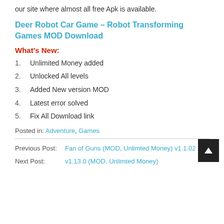our site where almost all free Apk is available.
Deer Robot Car Game – Robot Transforming Games MOD Download
What's New:
1. Unlimited Money added
2. Unlocked All levels
3. Added New version MOD
4. Latest error solved
5. Fix All Download link
Posted in: Adventure, Games
Previous Post: Fan of Guns (MOD, Unlimted Money) v1.1.02
Next Post: v1.13.0 (MOD, Unlimted Money)